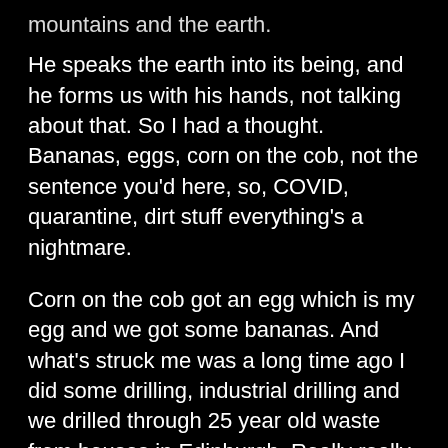mountains and the earth.
He speaks the earth into its being, and he forms us with his hands, not talking about that. So I had a thought. Bananas, eggs, corn on the cob, not the sentence you'd here, so, COVID, quarantine, dirt stuff everything's a nightmare.
Corn on the cob got an egg which is my egg and we got some bananas. And what's struck me was a long time ago I did some drilling, industrial drilling and we drilled through 25 year old waste from houses in Edinburgh. Really really sick?
Not gonna to describe what I saw, smelt and had to deal with, but I'd learned about plastic packets that you can eat with your gloves on.
Today, corn on the cob, we bought this from the supermarket. Now we wash everything. It goes into